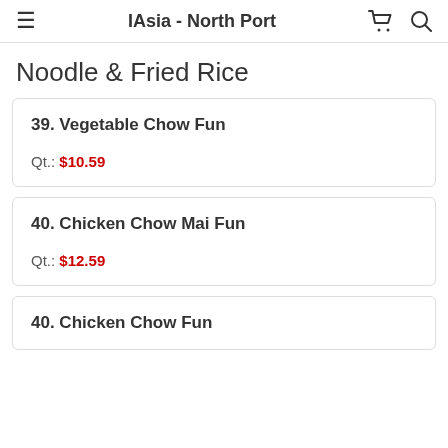IAsia - North Port
Noodle & Fried Rice
39. Vegetable Chow Fun Qt.: $10.59
40. Chicken Chow Mai Fun Qt.: $12.59
40. Chicken Chow Fun